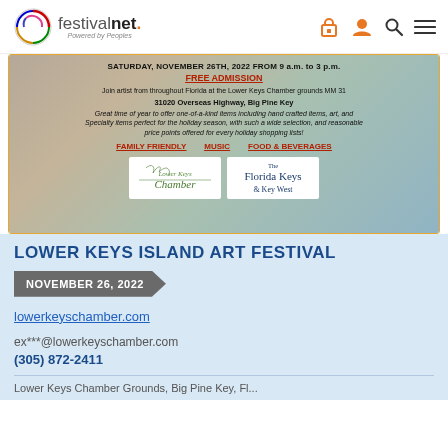[Figure (logo): FestivalNet logo with circular rainbow swirl icon and text 'festivalnet. Powered by Peoples']
[Figure (screenshot): Event flyer for Lower Keys Island Art Festival showing date, free admission, location, description, family friendly/music/food & beverages tags, and sponsor logos]
LOWER KEYS ISLAND ART FESTIVAL
NOVEMBER 26, 2022
lowerkeyschamber.com
ex***@lowerkeyschamber.com
(305) 872-2411
Lower Keys Chamber Grounds, Big Pine Key, Fl...